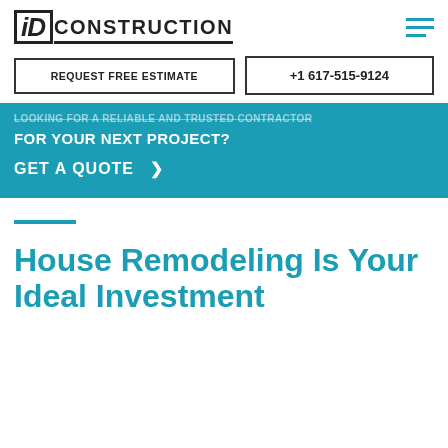iD CONSTRUCTION
REQUEST FREE ESTIMATE
+1 617-515-9124
LOOKING FOR A RELIABLE AND TRUSTED CONTRACTOR FOR YOUR NEXT PROJECT?
GET A QUOTE >
House Remodeling Is Your Ideal Investment